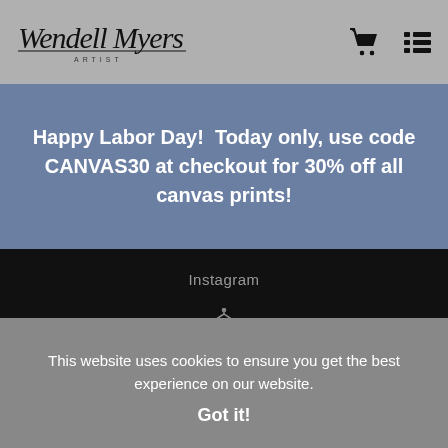Wendell Myers ARTIST
Happy Labor Day!  Today only, use code CANVAS30 at checkout for 30% off all canvas prints!
Instagram
[Figure (logo): Art Storefronts house/gazebo icon logo]
Proud Member of Art Storefronts
This website uses cookies to ensure you get the best experience on our website.
Got it!